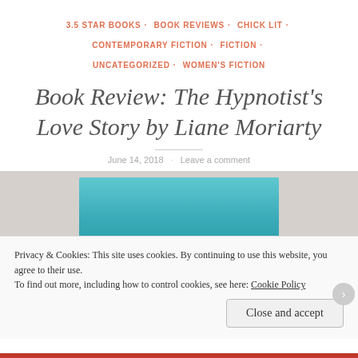3.5 STAR BOOKS · BOOK REVIEWS · CHICK LIT · CONTEMPORARY FICTION · FICTION · UNCATEGORIZED · WOMEN'S FICTION
Book Review: The Hypnotist's Love Story by Liane Moriarty
June 14, 2018 · Leave a comment
[Figure (photo): A teal/turquoise colored book photographed on a light grey/white background, partially cropped]
Privacy & Cookies: This site uses cookies. By continuing to use this website, you agree to their use. To find out more, including how to control cookies, see here: Cookie Policy